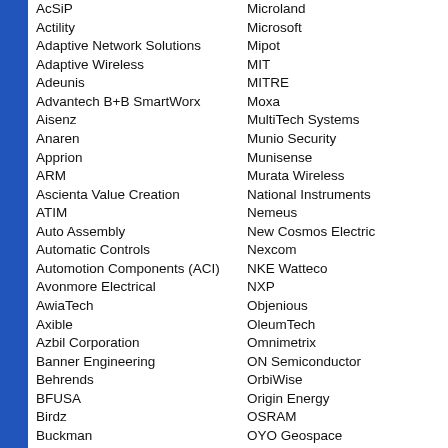AcSiP
Actility
Adaptive Network Solutions
Adaptive Wireless
Adeunis
Advantech B+B SmartWorx
Aisenz
Anaren
Apprion
ARM
Ascienta Value Creation
ATIM
Auto Assembly
Automatic Controls
Automotion Components (ACI)
Avonmore Electrical
AwiaTech
Axible
Azbil Corporation
Banner Engineering
Behrends
BFUSA
Birdz
Buckman
CANTV
Carbon Controls
Carollo Engineers
Carriots
Cartón de Colombia SA
CD Nova
Microland
Microsoft
Mipot
MIT
MITRE
Moxa
MultiTech Systems
Munio Security
Munisense
Murata Wireless
National Instruments
Nemeus
New Cosmos Electric
Nexcom
NKE Watteco
NXP
Objenious
OleumTech
Omnimetrix
ON Semiconductor
OrbiWise
Origin Energy
OSRAM
OYO Geospace
Pacific Environment
Packetworx
Panasonic
Panduit
Parametric GmbH
Parr Instrument Comp